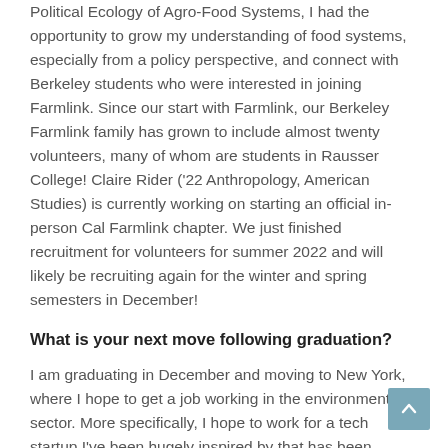Political Ecology of Agro-Food Systems, I had the opportunity to grow my understanding of food systems, especially from a policy perspective, and connect with Berkeley students who were interested in joining Farmlink. Since our start with Farmlink, our Berkeley Farmlink family has grown to include almost twenty volunteers, many of whom are students in Rausser College! Claire Rider ('22 Anthropology, American Studies) is currently working on starting an official in-person Cal Farmlink chapter. We just finished recruitment for volunteers for summer 2022 and will likely be recruiting again for the winter and spring semesters in December!
What is your next move following graduation?
I am graduating in December and moving to New York, where I hope to get a job working in the environmental sector. More specifically, I hope to work for a tech startup I've been hugely inspired by that has been working to eradicate food waste and insecurity just as we have been